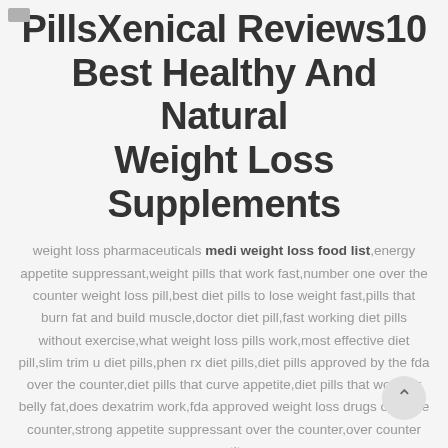PillsXenical Reviews10 Best Healthy And Natural Weight Loss Supplements
weight loss pharmaceuticals medi weight loss food list,energy appetite suppressant,weight pills that work fast,number one over the counter weight loss pill,best diet pills to lose weight fast,pills that burn fat and build muscle,doctor diet pill,fast working diet pills without exercise,what weight loss pills work,most effective diet pill,slim trim u diet pills,phen rx diet pills,diet pills approved by the fda over the counter,diet pills that curve appetite,diet pills that work for belly fat,does dexatrim work,fda approved weight loss drugs over the counter,strong appetite suppressant over the counter,over counter appetite